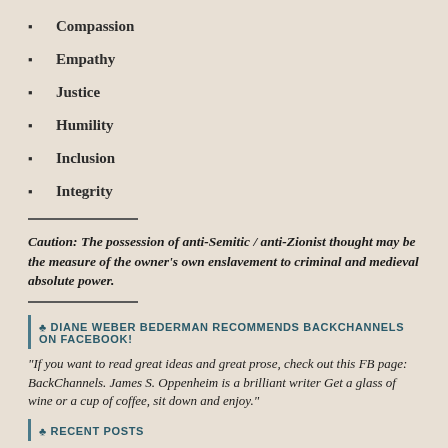Compassion
Empathy
Justice
Humility
Inclusion
Integrity
Caution: The possession of anti-Semitic / anti-Zionist thought may be the measure of the owner's own enslavement to criminal and medieval absolute power.
♣ DIANE WEBER BEDERMAN RECOMMENDS BACKCHANNELS ON FACEBOOK!
"If you want to read great ideas and great prose, check out this FB page: BackChannels. James S. Oppenheim is a brilliant writer Get a glass of wine or a cup of coffee, sit down and enjoy."
♣ RECENT POSTS
Detecting Post-Soviet Russia's Black Narrative of Revenge for '89 and '91